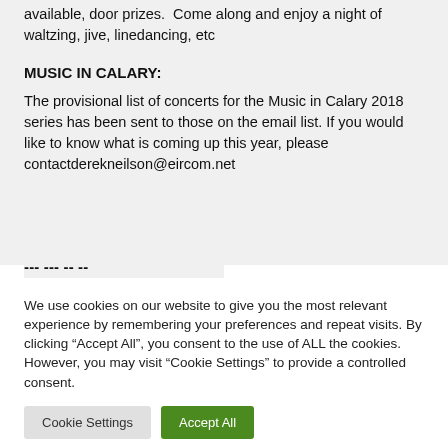available, door prizes.  Come along and enjoy a night of waltzing, jive, linedancing, etc
MUSIC IN CALARY:
The provisional list of concerts for the Music in Calary 2018 series has been sent to those on the email list. If you would like to know what is coming up this year, please contactderekneilson@eircom.net
We use cookies on our website to give you the most relevant experience by remembering your preferences and repeat visits. By clicking “Accept All”, you consent to the use of ALL the cookies. However, you may visit “Cookie Settings” to provide a controlled consent.